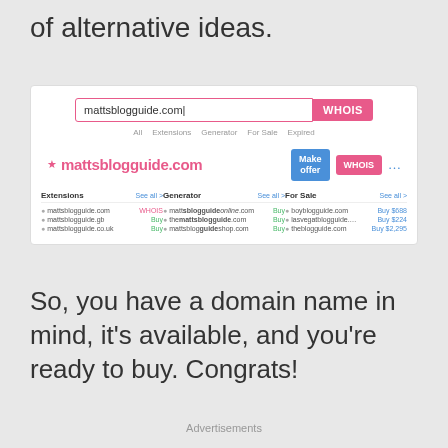of alternative ideas.
[Figure (screenshot): Screenshot of a domain search tool showing mattsblogguide.com search with WHOIS button, domain result row with Make offer and WHOIS buttons, and three columns: Extensions, Generator, and For Sale with various domain suggestions.]
So, you have a domain name in mind, it’s available, and you’re ready to buy. Congrats!
Advertisements